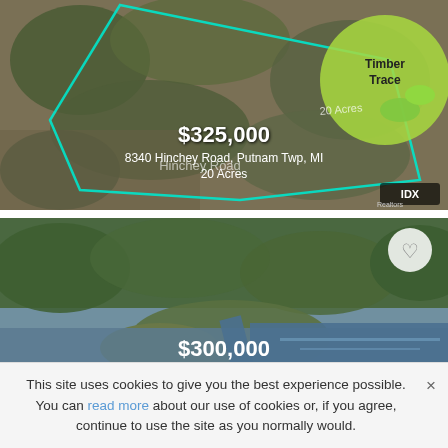[Figure (photo): Aerial photo of wooded land parcel with cyan boundary lines drawn, showing Timber Trace golf course in upper right. Price $325,000 overlaid, address 8340 Hinchey Road Putnam Twp MI, 20 Acres. IDK Realtors badge at bottom right.]
[Figure (photo): Aerial photo of land parcel next to lake/river. Heart icon in upper right corner. Price $300,000 overlaid at bottom, address 4788 PARKER Drive Marion Twp MI.]
This site uses cookies to give you the best experience possible. You can read more about our use of cookies or, if you agree, continue to use the site as you normally would.